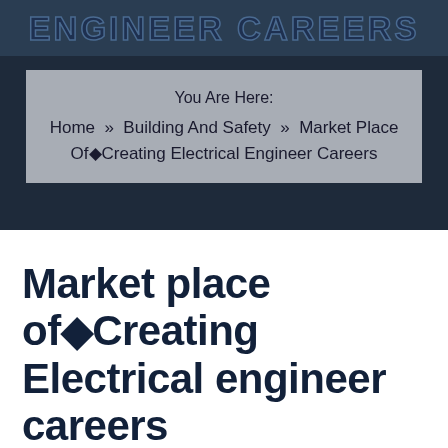ENGINEER CAREERS
You Are Here:
Home » Building And Safety » Market Place Of◆Creating Electrical Engineer Careers
Market place of◆Creating Electrical engineer careers
August 5, 2021   No Comments   biggish09
Building and safety